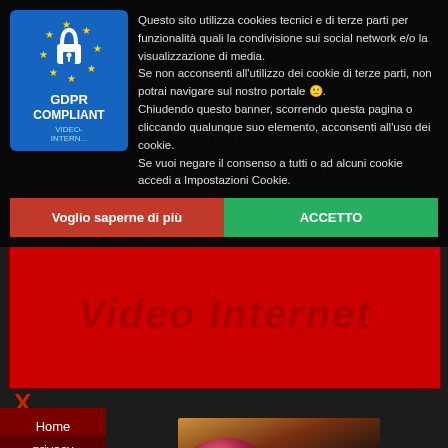[Figure (screenshot): Website background with 'Video Internet' text in red on dark background, partially visible behind GDPR cookie consent overlay]
Questo sito utilizza cookies tecnici e di terze parti per funzionalità quali la condivisione sui social network e/o la visualizzazione di media.
Se non acconsenti all'utilizzo dei cookie di terze parti, non potrai navigare sul nostro portale 🙁.
Chiudendo questo banner, scorrendo questa pagina o cliccando qualunque suo elemento, acconsenti all'uso dei cookie.
Se vuoi negare il consenso a tutti o ad alcuni cookie accedi a Impostazioni Cookie.
Voglio saperne di più
ACCETTO
[Figure (screenshot): Red banner with 'Video Internet' text in darker red]
X
Home Page
privacy
[Figure (photo): Woman with red hair, partial view in bottom right corner]